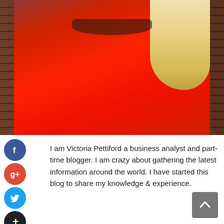[Figure (photo): Woman in red dress with blonde curly hair against a brick wall background]
I am Victoria Pettiford a business analyst and part-time blogger. I am crazy about gathering the latest information around the world. I have started this blog to share my knowledge & experience.